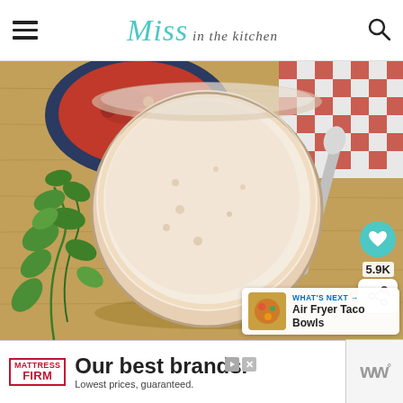Miss in the kitchen
[Figure (photo): Overhead/top-down view of a glass jar of creamy white dipping sauce on a wooden cutting board, with fresh cilantro on the left, a dark blue bowl of red salsa in the upper left, a silver spoon on the right, and a red checkered cloth in the upper right. Overlay buttons: a teal heart icon, share icon, and 5.9K count. A 'What's Next: Air Fryer Taco Bowls' banner in lower right.]
WHAT'S NEXT → Air Fryer Taco Bowls
Our best brands. Lowest prices, guaranteed.